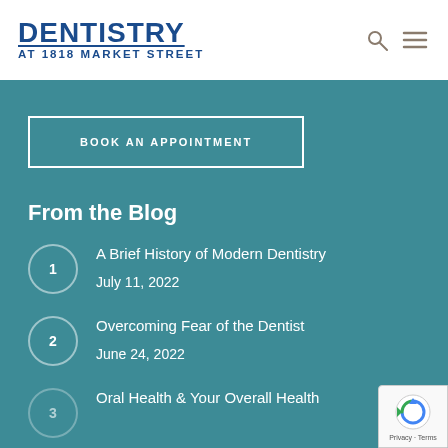DENTISTRY AT 1818 MARKET STREET
BOOK AN APPOINTMENT
From the Blog
A Brief History of Modern Dentistry
July 11, 2022
Overcoming Fear of the Dentist
June 24, 2022
Oral Health & Your Overall Health
[Figure (logo): reCAPTCHA privacy badge with Privacy and Terms links]